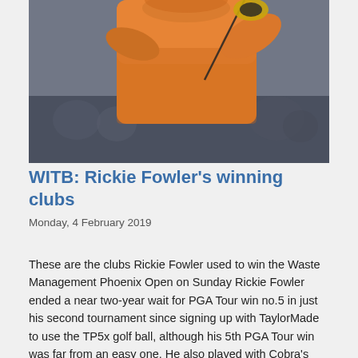[Figure (photo): Golfer Rickie Fowler in orange long-sleeve shirt mid-swing with a driver, crowd visible in blurred background]
WITB: Rickie Fowler’s winning clubs
Monday, 4 February 2019
These are the clubs Rickie Fowler used to win the Waste Management Phoenix Open on Sunday Rickie Fowler ended a near two-year wait for PGA Tour win no.5 in just his second tournament since signing up with TaylorMade to use the TP5x golf ball, although his 5th PGA Tour win was far from an easy one. He also played with Cobra’s new...